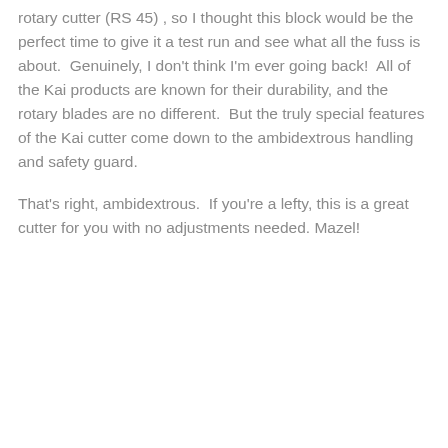rotary cutter (RS 45) , so I thought this block would be the perfect time to give it a test run and see what all the fuss is about.  Genuinely, I don't think I'm ever going back!  All of the Kai products are known for their durability, and the rotary blades are no different.  But the truly special features of the Kai cutter come down to the ambidextrous handling and safety guard.
That's right, ambidextrous.  If you're a lefty, this is a great cutter for you with no adjustments needed. Mazel!